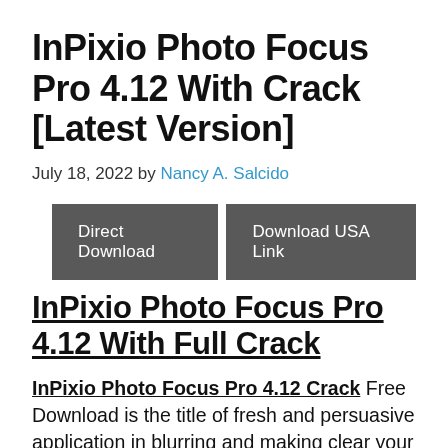InPixio Photo Focus Pro 4.12 With Crack [Latest Version]
July 18, 2022 by Nancy A. Salcido
[Figure (other): Two dark grey download buttons: 'Direct Download' and 'Download USA Link']
InPixio Photo Focus Pro 4.12 With Full Crack
InPixio Photo Focus Pro 4.12 Crack Free Download is the title of fresh and persuasive application in blurring and making clear your preferred components of your pictures. One